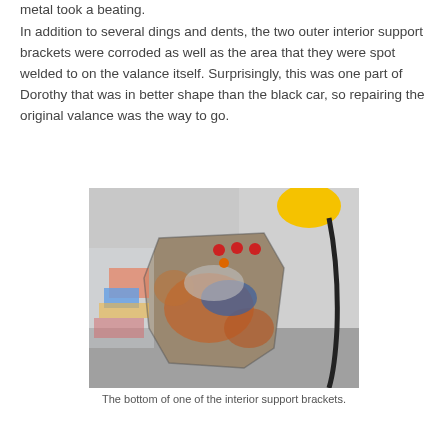metal took a beating.
In addition to several dings and dents, the two outer interior support brackets were corroded as well as the area that they were spot welded to on the valance itself. Surprisingly, this was one part of Dorothy that was in better shape than the black car, so repairing the original valance was the way to go.
[Figure (photo): A corroded and damaged interior support bracket, showing multiple layers of paint, rust, and corrosion damage. Small rivets or bolts visible at top. Colorful debris and workshop tools visible in background.]
The bottom of one of the interior support brackets.